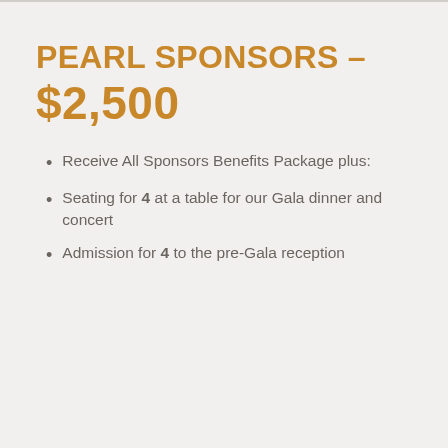PEARL SPONSORS – $2,500
Receive All Sponsors Benefits Package plus:
Seating for 4 at a table for our Gala dinner and concert
Admission for 4 to the pre-Gala reception